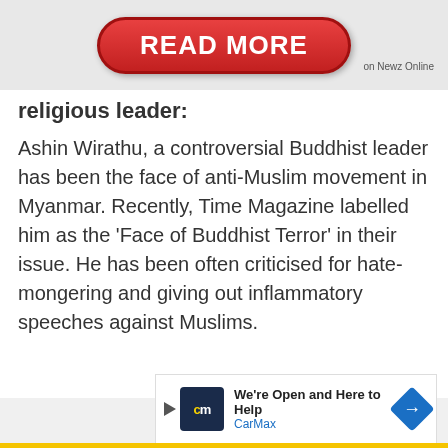[Figure (other): Red pill-shaped 'READ MORE' button with white bold text, with 'on Newz Online' label to the right, on a gray background banner at the top of the page]
religious leader:
Ashin Wirathu, a controversial Buddhist leader has been the face of anti-Muslim movement in Myanmar. Recently, Time Magazine labelled him as the 'Face of Buddhist Terror' in their issue. He has been often criticised for hate-mongering and giving out inflammatory speeches against Muslims.
[Figure (other): CarMax advertisement banner showing 'We're Open and Here to Help' with CarMax logo and blue arrow icon]